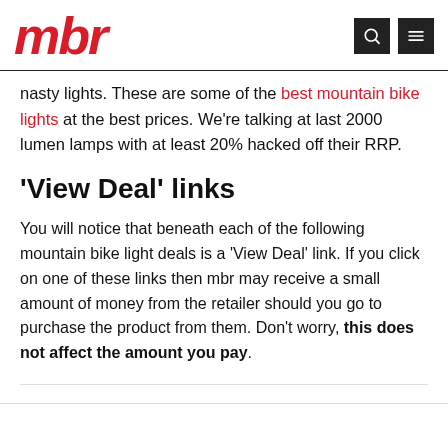mbr
nasty lights. These are some of the best mountain bike lights at the best prices. We're talking at last 2000 lumen lamps with at least 20% hacked off their RRP.
'View Deal' links
You will notice that beneath each of the following mountain bike light deals is a 'View Deal' link. If you click on one of these links then mbr may receive a small amount of money from the retailer should you go to purchase the product from them. Don't worry, this does not affect the amount you pay.